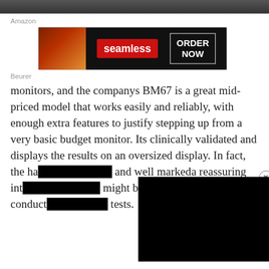[Figure (photo): Top strip showing partial photo of a person]
Amazon
[Figure (infographic): Seamless food delivery advertisement banner with pizza image, red Seamless logo button, and ORDER NOW button on dark background]
Beurer
monitors, and the companys BM67 is a great mid-priced model that works easily and reliably, with enough extra features to justify stepping up from a very basic budget monitor. Its clinically validated and displays the results on an oversized display. In fact, the ha[rdware is] and well markeda reassuring int[erface for people who] might be nervous about conduct[ing their own blood pressure] tests.
[Figure (screenshot): Black video overlay popup covering part of the article text]
Your results are easy to interpret thanks to a color-coded system that lets you quickly assess if your blood pressure is outside the nominal range without needing to in[terpret] the systoli[c and diastolic readings — saving the] usual [hassle]
[Figure (infographic): Macy's KISS BORING LIPS GOODBYE advertisement banner with woman's lips photo, SHOP NOW button, and Macy's star logo]